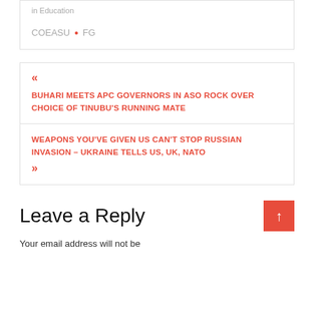in  Education
COEASU • FG
« BUHARI MEETS APC GOVERNORS IN ASO ROCK OVER CHOICE OF TINUBU'S RUNNING MATE
WEAPONS YOU'VE GIVEN US CAN'T STOP RUSSIAN INVASION – UKRAINE TELLS US, UK, NATO »
Leave a Reply
Your email address will not be